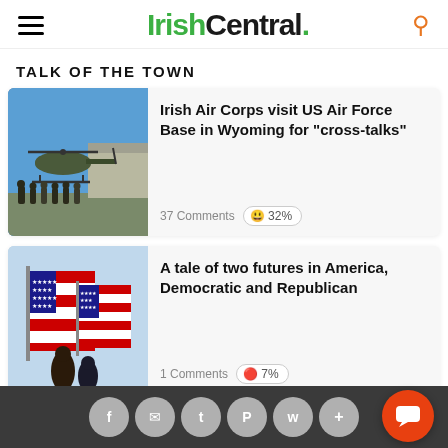Irish Central.
TALK OF THE TOWN
Irish Air Corps visit US Air Force Base in Wyoming for "cross-talks"
37 Comments | 😄 32%
A tale of two futures in America, Democratic and Republican
1 Comments | 🔴 7%